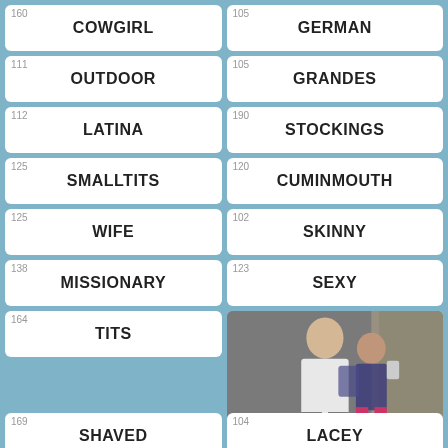160 COWGIRL
105 GERMAN
111 OUTDOOR
105 GRANDES
112 LATINA
190 STOCKINGS
125 SMALLTITS
120 CUMINMOUTH
125 WIFE
102 SKINNY
138 MISSIONARY
123 SEXY
164 TITS
[Figure (photo): 103 - Two people near a doorway, thumbnail image with SUCKING label]
169 SHAVED
104 LACEY
XXX ...